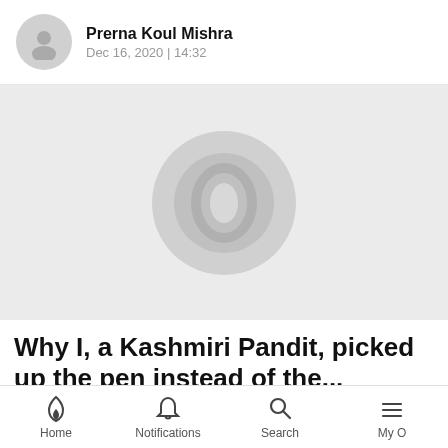Prerna Koul Mishra
Dec 16, 2020 | 14:32
[Figure (photo): Gray placeholder image with a circular play/media icon in the center]
Why I, a Kashmiri Pandit, picked up the pen instead of the...
Home | Notifications | Search | My O